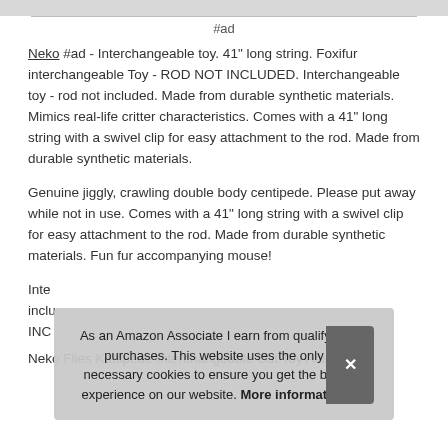#ad
Neko #ad - Interchangeable toy. 41" long string. Foxifur interchangeable Toy - ROD NOT INCLUDED. Interchangeable toy - rod not included. Made from durable synthetic materials. Mimics real-life critter characteristics. Comes with a 41" long string with a swivel clip for easy attachment to the rod. Made from durable synthetic materials.
Genuine jiggly, crawling double body centipede. Please put away while not in use. Comes with a 41" long string with a swivel clip for easy attachment to the rod. Made from durable synthetic materials. Fun fur accompanying mouse! Interchangeable toy - rod not included. ROD NOT INCLUDED.
As an Amazon Associate I earn from qualifying purchases. This website uses the only necessary cookies to ensure you get the best experience on our website. More information
Neko Flies Kattipede Interchangeable Cat Toy Attachment